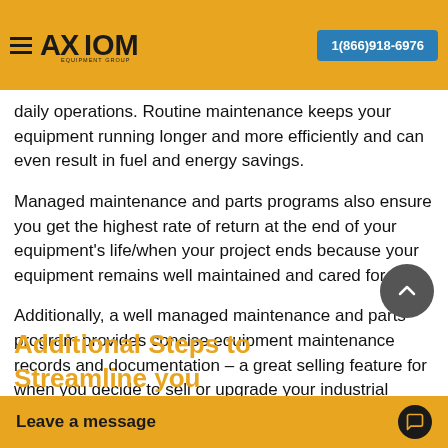Axiom Equipment Group — 1(866)918-6976
Managed maintenance programs ensure you never forget regular service intervals in the busyness of daily operations. Routine maintenance keeps your equipment running longer and more efficiently and can even result in fuel and energy savings.
Managed maintenance and parts programs also ensure you get the highest rate of return at the end of your equipment's life/when your project ends because your equipment remains well maintained and cared for.
Additionally, a well managed maintenance and parts program provides concise equipment maintenance records and documentation – a great selling feature for when you decide to sell or upgrade your industrial construction equipment.
Additional Steps to Streamline your
Leave a message